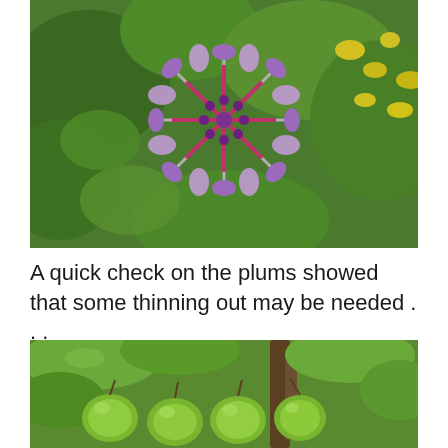[Figure (photo): Close-up photograph of a purple/lavender flower cluster with spiky radiating petals and dark purple buds at center, surrounded by green and yellow foliage in the background.]
A quick check on the plums showed that some thinning out may be needed . . .
[Figure (photo): Close-up photograph of green unripe plums growing in a cluster on a tree branch, with large green leaves visible around them.]